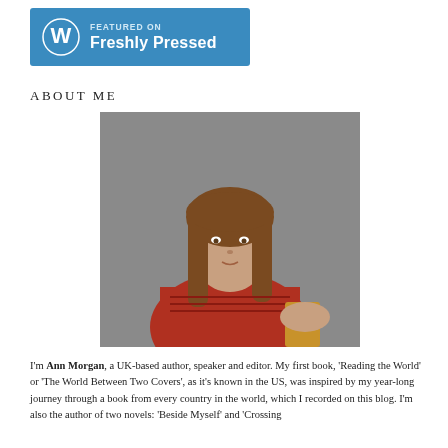[Figure (logo): WordPress 'Featured on Freshly Pressed' banner with blue background, WordPress logo on left, text 'FEATURED ON Freshly Pressed' on right in white]
ABOUT ME
[Figure (photo): Professional headshot of a woman with long brown hair wearing a red top, seated against a grey background]
I'm Ann Morgan, a UK-based author, speaker and editor. My first book, 'Reading the World' or 'The World Between Two Covers', as it's known in the US, was inspired by my year-long journey through a book from every country in the world, which I recorded on this blog. I'm also the author of two novels: 'Beside Myself' and 'Crossing'